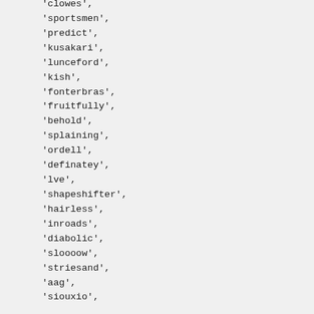'clowes',
'sportsmen',
'predict',
'kusakari',
'lunceford',
'kish',
'fonterbras',
'fruitfully',
'behold',
'splaining',
'ordell',
'definatey',
'lve',
'shapeshifter',
'hairless',
'inroads',
'diabolic',
'sloooow',
'striesand',
'aag',
'siouxio',